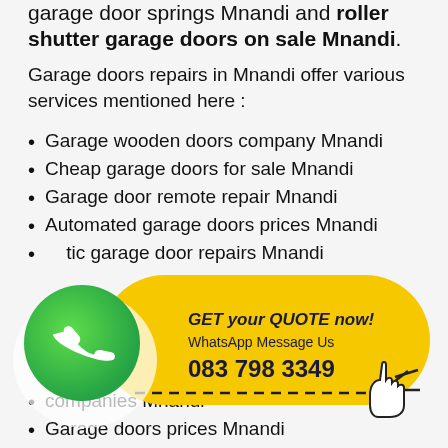garage door springs Mnandi and roller shutter garage doors on sale Mnandi.
Garage doors repairs in Mnandi offer various services mentioned here :
Garage wooden doors company Mnandi
Cheap garage doors for sale Mnandi
Garage door remote repair Mnandi
Automated garage doors prices Mnandi
...atic garage door repairs Mnandi
[Figure (infographic): WhatsApp contact banner with green WhatsApp logo icon on left, yellow pill-shaped button with text 'GET your QUOTE now! WhatsApp Message Us 083 798 3349' and a click hand cursor on the right]
companies Mnandi
Garage doors prices Mnandi